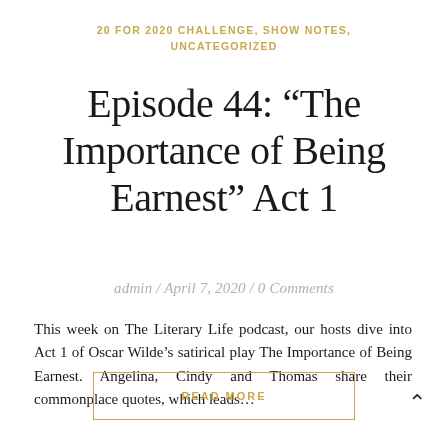20 FOR 2020 CHALLENGE, SHOW NOTES, UNCATEGORIZED
Episode 44: “The Importance of Being Earnest” Act 1
admin / April 7, 2020 / 0 Comments
This week on The Literary Life podcast, our hosts dive into Act 1 of Oscar Wilde’s satirical play The Importance of Being Earnest. Angelina, Cindy and Thomas share their commonplace quotes, which leads…
READ MORE